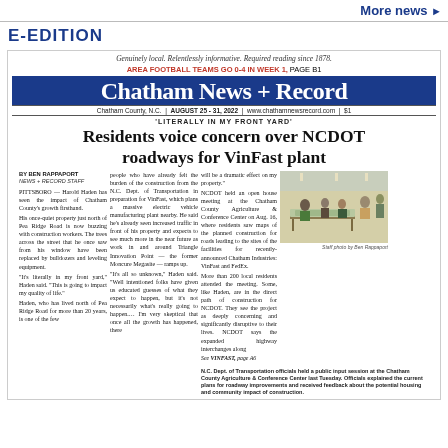More news ▶
E-EDITION
Genuinely local. Relentlessly informative. Required reading since 1878.
AREA FOOTBALL TEAMS GO 0-4 IN WEEK 1, PAGE B1
Chatham News + Record
Chatham County, N.C. | AUGUST 25 - 31, 2022 | www.chathamnewsrecord.com | $1
'LITERALLY IN MY FRONT YARD'
Residents voice concern over NCDOT roadways for VinFast plant
BY BEN RAPPAPORT
News + Record Staff
PITTSBORO — Harold Haden has seen the impact of Chatham County's growth firsthand. His once-quiet property just north of Pea Ridge Road is now buzzing with construction workers. The trees across the street that he once saw from his window have been replaced by bulldozers and leveling equipment. "It's literally in my front yard," Haden said. "This is going to impact my quality of life." Haden, who has lived north of Pea Ridge Road for more than 20 years, is one of the few people who have already felt the burden of the construction from the N.C. Dept. of Transportation in preparation for VinFast, which plans a massive electric vehicle manufacturing plant nearby. He said he's already seen increased traffic in front of his property and expects to see much more in the near future as work in and around Triangle Innovation Point — the former Moncure Megasite — ramps up. "It's all so unknown," Haden said. "Well intentioned folks have given us educated guesses of what they expect to happen, but it's not necessarily what's really going to happen.... I'm very skeptical that once all the growth has happened, there will be a dramatic effect on my property."
NCDOT held an open house meeting at the Chatham County Agriculture & Conference Center on Aug. 16, where residents saw maps of the planned construction for roads leading to the sites of the facilities for recently-announced Chatham Industries: VinFast and FedEx. More than 200 local residents attended the meeting. Some, like Haden, are in the direct path of construction for NCDOT. They see the project as deeply concerning and significantly disruptive to their lives. NCDOT says the expanded highway interchanges along
See VINFAST, page A6
[Figure (photo): N.C. Dept. of Transportation officials held a public input session at the Chatham County Agriculture & Conference Center last Tuesday. Officials explained the current plans for roadway improvements and received feedback about the potential housing and community impact of construction.]
N.C. Dept. of Transportation officials held a public input session at the Chatham County Agriculture & Conference Center last Tuesday. Officials explained the current plans for roadway improvements and received feedback about the potential housing and community impact of construction.